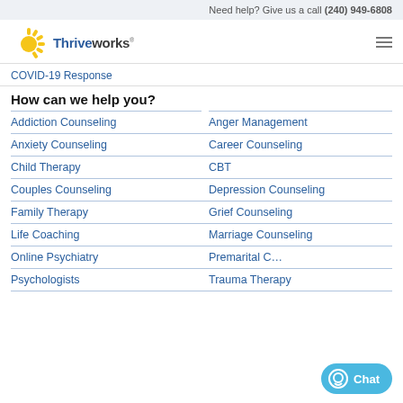Need help? Give us a call (240) 949-6808
[Figure (logo): Thriveworks logo with yellow sunburst and blue text]
COVID-19 Response
How can we help you?
Addiction Counseling
Anger Management
Anxiety Counseling
Career Counseling
Child Therapy
CBT
Couples Counseling
Depression Counseling
Family Therapy
Grief Counseling
Life Coaching
Marriage Counseling
Online Psychiatry
Premarital C…
Psychologists
Trauma Therapy